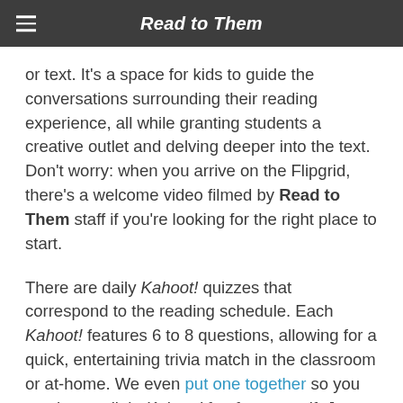Read to Them
or text. It's a space for kids to guide the conversations surrounding their reading experience, all while granting students a creative outlet and delving deeper into the text. Don't worry: when you arrive on the Flipgrid, there's a welcome video filmed by Read to Them staff if you're looking for the right place to start.
There are daily Kahoot! quizzes that correspond to the reading schedule. Each Kahoot! features 6 to 8 questions, allowing for a quick, entertaining trivia match in the classroom or at-home. We even put one together so you can have a little Kahoot! fun for yourself. Just click the link from your computer and join the game by typing the Game PIN in your phone